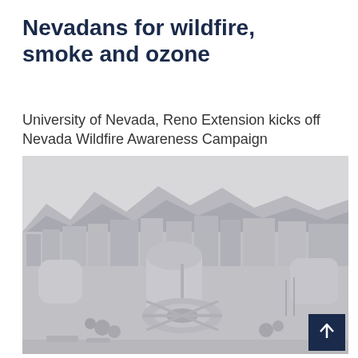Nevadans for wildfire, smoke and ozone
University of Nevada, Reno Extension kicks off Nevada Wildfire Awareness Campaign
[Figure (photo): Aerial black-and-white photograph of the University of Nevada, Reno campus showing buildings, plazas, walkways, and mountains in the background]